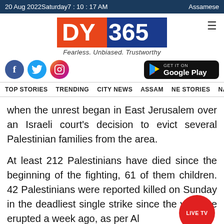20 Aug 2022Saturday7 : 10 : 17 AM   Assamese
[Figure (logo): DY365 logo with orange DY and blue 365 text on banner, tagline: Fearless. Unbiased. Trustworthy]
[Figure (infographic): Social media icons: Facebook, Twitter, Instagram circles, and GET IT ON Google Play button]
TOP STORIES   TRENDING   CITY NEWS   ASSAM   NE STORIES   NAT
when the unrest began in East Jerusalem over an Israeli court's decision to evict several Palestinian families from the area.
At least 212 Palestinians have died since the beginning of the fighting, 61 of them children. 42 Palestinians were reported killed on Sunday in the deadliest single strike since the violence erupted a week ago, as per Al
[Figure (other): LIVE TV red circular button overlay]